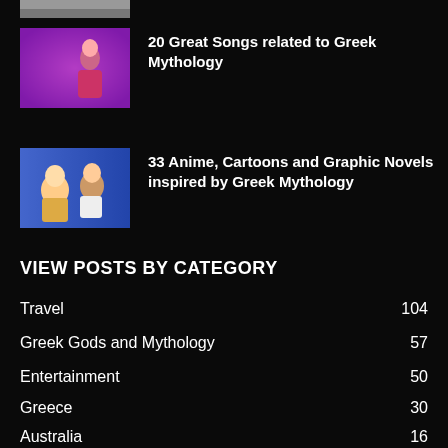[Figure (photo): Partial image cropped at top of page]
[Figure (photo): Thumbnail for Greek Mythology songs article — animated figure with purple background]
20 Great Songs related to Greek Mythology
[Figure (photo): Thumbnail for Anime/Cartoons article — animated characters with blue background]
33 Anime, Cartoons and Graphic Novels inspired by Greek Mythology
VIEW POSTS BY CATEGORY
Travel 104
Greek Gods and Mythology 57
Entertainment 50
Greece 30
Australia 16
Italy 10